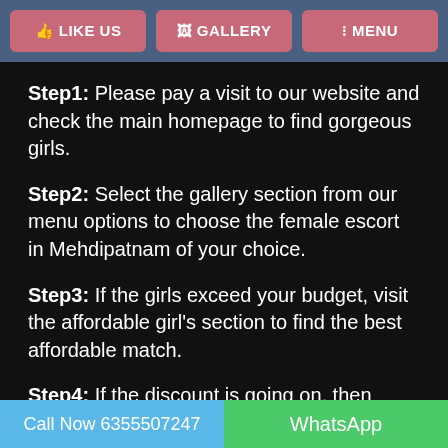LIKE US | GALLERY | MENU
Step1: Please pay a visit to our website and check the main homepage to find gorgeous girls.
Step2: Select the gallery section from our menu options to choose the female escort in Mehdipatnam of your choice.
Step3: If the girls exceed your budget, visit the affordable girl's section to find the best affordable match.
Step4: If the discount is going on, then apply the discount by choosing the voucher as per your choice.
Step5: A final call, book the girls by calling or messaging
Call Now 6355507247 | WhatsApp